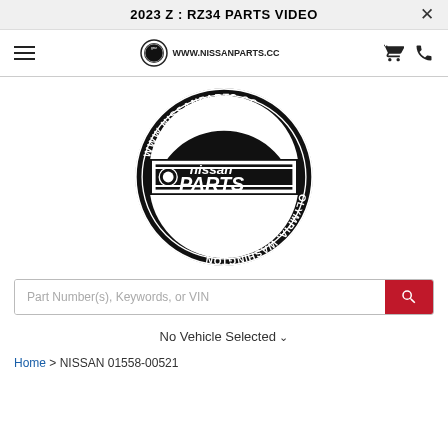2023 Z : RZ34 PARTS VIDEO
[Figure (logo): Nissan Parts circular logo with text WWW.NISSANPARTS.CC around top, OLYMPIA, WASHINGTON around bottom (upside down), nissan PARTS in center, with a stylized gear/disc icon]
Part Number(s), Keywords, or VIN
No Vehicle Selected
Home > NISSAN 01558-00521